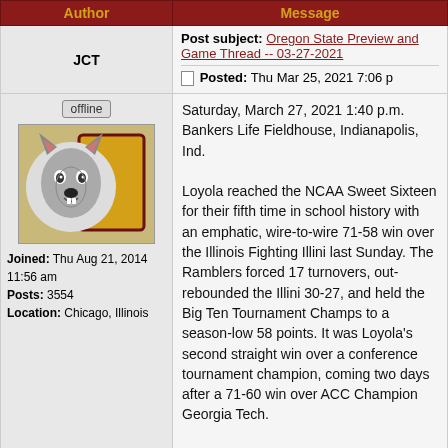Author | Message
| Author | Message |
| --- | --- |
| JCT | Post subject: Oregon State Preview and Game Thread -- 03-27-2021
Posted: Thu Mar 25, 2021 7:06 p... |
| offline
Joined: Thu Aug 21, 2014 11:56 am
Posts: 3554
Location: Chicago, Illinois | Saturday, March 27, 2021 1:40 p.m.
Bankers Life Fieldhouse, Indianapolis, Ind.

Loyola reached the NCAA Sweet Sixteen for their fifth time in school history with an emphatic, wire-to-wire 71-58 win over the Illinois Fighting Illini last Sunday. The Ramblers forced 17 turnovers, out-rebounded the Illini 30-27, and held the Big Ten Tournament Champs to a season-low 58 points. It was Loyola's second straight win over a conference tournament champion, coming two days after a 71-60 win over ACC Champion Georgia Tech.

On Saturday, the Ramblers will face yet another P5 conference champion in the Oregon State Beavers. The 12th-seed Oregon State team came from sixth place in the Pac 12 to win their conference tournament, defeating NCAA Tournament |